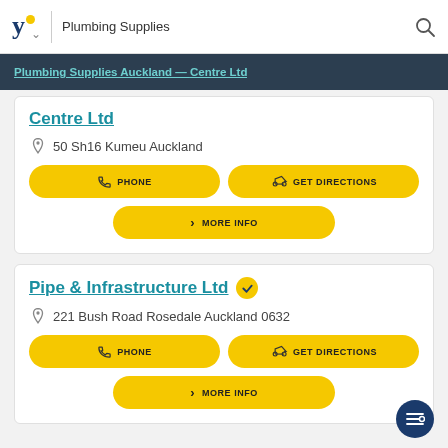Plumbing Supplies
Plumbing Supplies Kumeu Auckland — Centre Ltd
50 Sh16 Kumeu Auckland
PHONE
GET DIRECTIONS
MORE INFO
Pipe & Infrastructure Ltd
221 Bush Road Rosedale Auckland 0632
PHONE
GET DIRECTIONS
MORE INFO